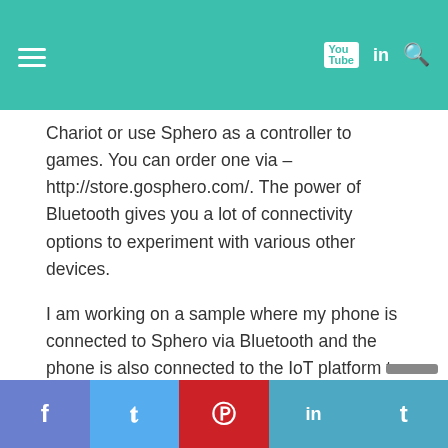Navigation bar with hamburger menu and social icons (YouTube, LinkedIn, Search)
Chariot or use Sphero as a controller to games. You can order one via – http://store.gosphero.com/. The power of Bluetooth gives you a lot of connectivity options to experiment with various other devices.
I am working on a sample where my phone is connected to Sphero via Bluetooth and the phone is also connected to the IoT platform to receive commands from the web, which is interpreted by the smart phone and provided to Sphero for carrying out the required action. I will post the tutorial once ready. I am also looking at a way where the Sphero can directly be connected to the IoT foundation, eliminating using the smart phone as a workaround.
f  t  Pinterest  in  t (social share buttons)